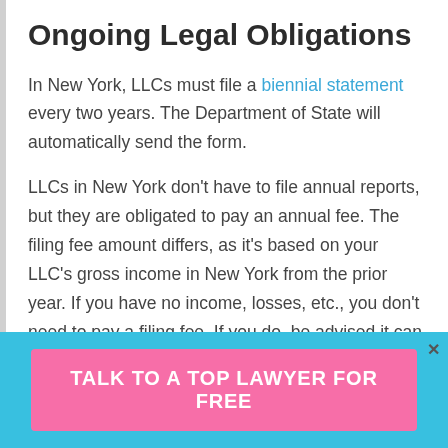Ongoing Legal Obligations
In New York, LLCs must file a biennial statement every two years. The Department of State will automatically send the form.
LLCs in New York don't have to file annual reports, but they are obligated to pay an annual fee. The filing fee amount differs, as it's based on your LLC's gross income in New York from the prior year. If you have no income, losses, etc., you don't need to pay a filing fee. If you do, be advised it can range from around $25 to $4,500. You must file the form within 60 days of your LLC's tax year.
New York also requires that LLCs that have income in
TALK TO A TOP LAWYER FOR FREE